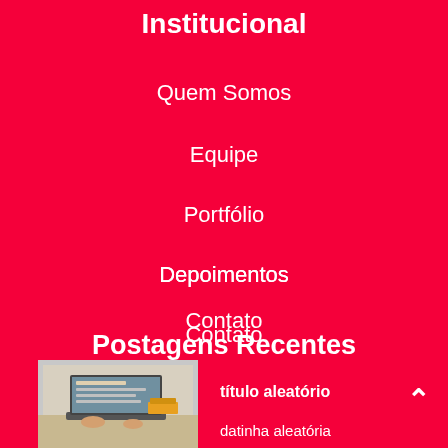Institucional
Quem Somos
Equipe
Portfólio
Depoimentos
Contato
Blog
Postagens Recentes
[Figure (photo): Thumbnail photo of a person working on a laptop at a desk]
título aleatório
datinha aleatória